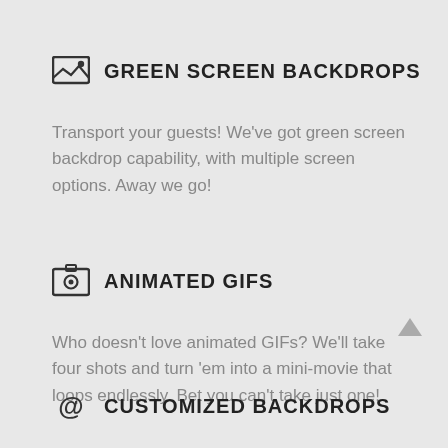GREEN SCREEN BACKDROPS
Transport your guests! We've got green screen backdrop capability, with multiple screen options. Away we go!
ANIMATED GIFS
Who doesn't love animated GIFs? We'll take four shots and turn 'em into a mini-movie that loops endlessly. Bet you can't take just one!
CUSTOMIZED BACKDROPS